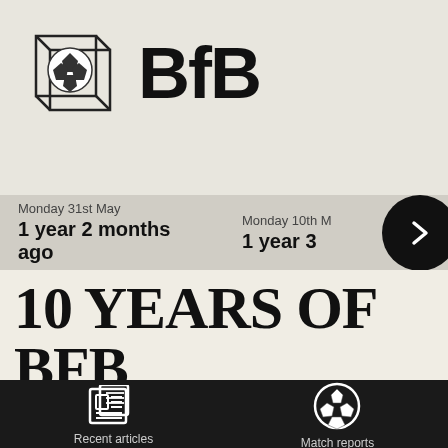[Figure (logo): BfB logo with cube/soccer ball icon and bold BfB text]
Monday 31st May
1 year 2 months ago
Monday 10th M
1 year 3
10 YEARS OF BFB
[Figure (illustration): Newspaper/articles icon in white]
Recent articles
[Figure (illustration): Soccer ball icon in white]
Match reports